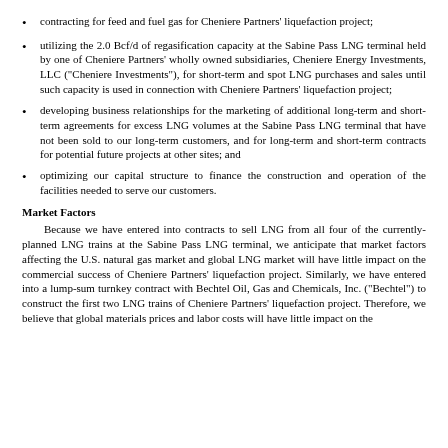contracting for feed and fuel gas for Cheniere Partners' liquefaction project;
utilizing the 2.0 Bcf/d of regasification capacity at the Sabine Pass LNG terminal held by one of Cheniere Partners' wholly owned subsidiaries, Cheniere Energy Investments, LLC ("Cheniere Investments"), for short-term and spot LNG purchases and sales until such capacity is used in connection with Cheniere Partners' liquefaction project;
developing business relationships for the marketing of additional long-term and short- term agreements for excess LNG volumes at the Sabine Pass LNG terminal that have not been sold to our long-term customers, and for long-term and short-term contracts for potential future projects at other sites; and
optimizing our capital structure to finance the construction and operation of the facilities needed to serve our customers.
Market Factors
Because we have entered into contracts to sell LNG from all four of the currently-planned LNG trains at the Sabine Pass LNG terminal, we anticipate that market factors affecting the U.S. natural gas market and global LNG market will have little impact on the commercial success of Cheniere Partners' liquefaction project. Similarly, we have entered into a lump-sum turnkey contract with Bechtel Oil, Gas and Chemicals, Inc. ("Bechtel") to construct the first two LNG trains of Cheniere Partners' liquefaction project. Therefore, we believe that global materials prices and labor costs will have little impact on the